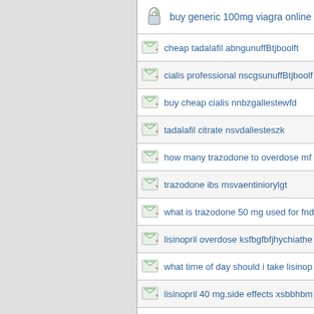buy generic 100mg viagra online
cheap tadalafil abngunuffBtjboolft
cialis professional nscgsunuffBtjboolf
buy cheap cialis nnbzgallestewfd
tadalafil citrate nsvdallesteszk
how many trazodone to overdose mf
trazodone ibs msvaentiniorylgt
what is trazodone 50 mg used for fnd
lisinopril overdose ksfbgfbfjhychiathe
what time of day should i take lisinop
lisinopril 40 mg.side effects xsbbhbm
what is cymbalta good for avbngunuf
5mg lexapro nscvgsunuffBtjboolfn